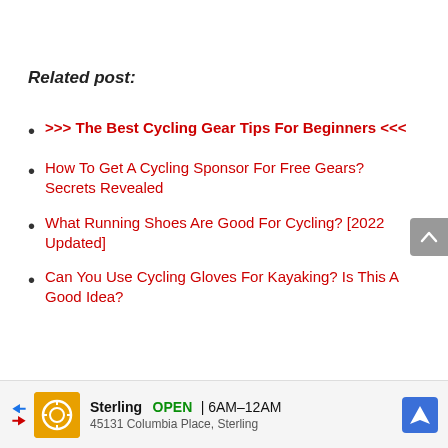Related post:
>>> The Best Cycling Gear Tips For Beginners <<<
How To Get A Cycling Sponsor For Free Gears? Secrets Revealed
What Running Shoes Are Good For Cycling? [2022 Updated]
Can You Use Cycling Gloves For Kayaking? Is This A Good Idea?
[Figure (other): Advertisement banner: Sterling OPEN 6AM-12AM, 45131 Columbia Place, Sterling, with navigation icon]